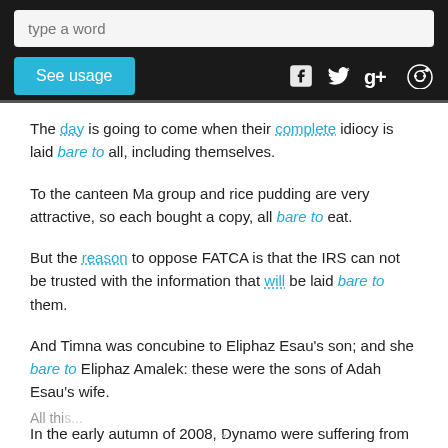[Figure (screenshot): Web app header with search input field showing placeholder 'type a word', a 'See usage' button in cyan/teal, and social media icons for Facebook, Twitter, Google+, and Reddit on a dark background.]
The day is going to come when their complete idiocy is laid bare to all, including themselves.
To the canteen Ma group and rice pudding are very attractive, so each bought a copy, all bare to eat.
But the reason to oppose FATCA is that the IRS can not be trusted with the information that will be laid bare to them.
And Timna was concubine to Eliphaz Esau's son; and she bare to Eliphaz Amalek: these were the sons of Adah Esau's wife.
In the early autumn of 2008, Dynamo were suffering from an onset of injuries, which left their attack bare to the bones.
All this...
×